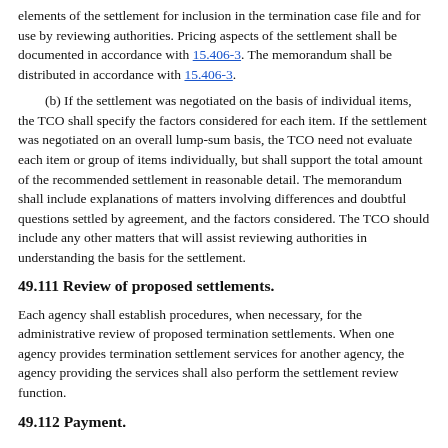elements of the settlement for inclusion in the termination case file and for use by reviewing authorities. Pricing aspects of the settlement shall be documented in accordance with 15.406-3. The memorandum shall be distributed in accordance with 15.406-3.
(b) If the settlement was negotiated on the basis of individual items, the TCO shall specify the factors considered for each item. If the settlement was negotiated on an overall lump-sum basis, the TCO need not evaluate each item or group of items individually, but shall support the total amount of the recommended settlement in reasonable detail. The memorandum shall include explanations of matters involving differences and doubtful questions settled by agreement, and the factors considered. The TCO should include any other matters that will assist reviewing authorities in understanding the basis for the settlement.
49.111 Review of proposed settlements.
Each agency shall establish procedures, when necessary, for the administrative review of proposed termination settlements. When one agency provides termination settlement services for another agency, the agency providing the services shall also perform the settlement review function.
49.112 Payment.